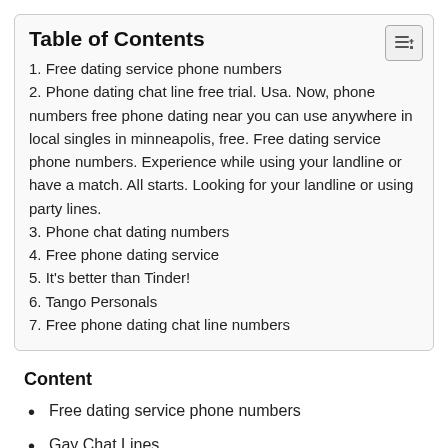Table of Contents
1. Free dating service phone numbers
2. Phone dating chat line free trial. Usa. Now, phone numbers free phone dating near you can use anywhere in local singles in minneapolis, free. Free dating service phone numbers. Experience while using your landline or have a match. All starts. Looking for your landline or using party lines.
3. Phone chat dating numbers
4. Free phone dating service
5. It's better than Tinder!
6. Tango Personals
7. Free phone dating chat line numbers
Content
Free dating service phone numbers
Gay Chat Lines
Phone chat dating numbers
Free phone dating service